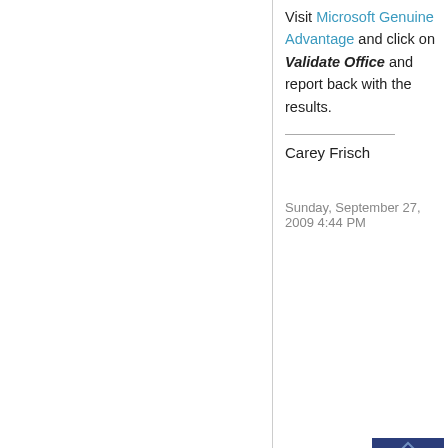Visit Microsoft Genuine Advantage and click on Validate Office and report back with the results.
Carey Frisch
Sunday, September 27, 2009 4:44 PM
[Figure (logo): Microsoft MVP badge logo - dark blue diamond shape with MVP text]
Carey Frisch Microsoft MVP since 2003 (MCC, MVP)
[Figure (screenshot): Grey chat/reply icon button]
0
Sign in to vote
carey